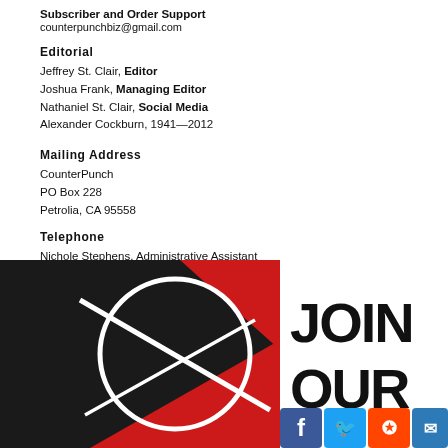Subscriber and Order Support
counterpunchbiz@gmail.com
Editorial
Jeffrey St. Clair, Editor
Joshua Frank, Managing Editor
Nathaniel St. Clair, Social Media
Alexander Cockburn, 1941—2012
Mailing Address
CounterPunch
PO Box 228
Petrolia, CA 95558
Telephone
Nichole Stephens, Administrative Assistant
1(707) 629-3683
[Figure (logo): CounterPunch logo with JOIN OUR text and social media icons (Facebook, Twitter, Reddit, Email)]